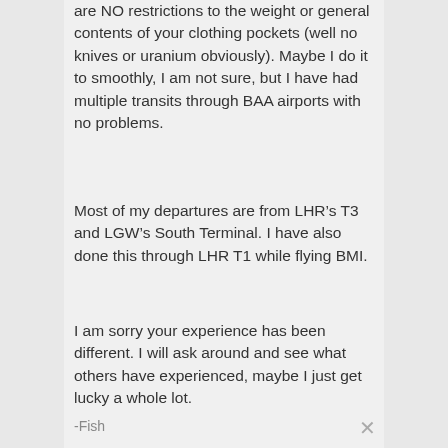are NO restrictions to the weight or general contents of your clothing pockets (well no knives or uranium obviously). Maybe I do it to smoothly, I am not sure, but I have had multiple transits through BAA airports with no problems.
Most of my departures are from LHR’s T3 and LGW’s South Terminal. I have also done this through LHR T1 while flying BMI.
I am sorry your experience has been different. I will ask around and see what others have experienced, maybe I just get lucky a whole lot.
-Fish